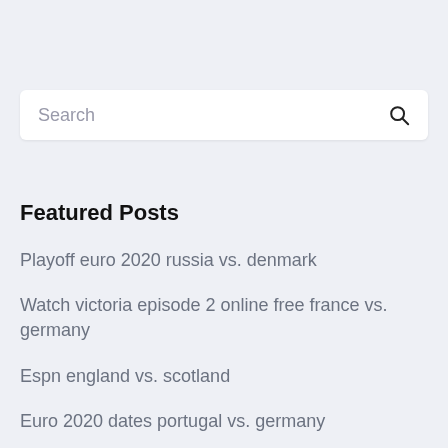Search
Featured Posts
Playoff euro 2020 russia vs. denmark
Watch victoria episode 2 online free france vs. germany
Espn england vs. scotland
Euro 2020 dates portugal vs. germany
Espn plus schedule today poland vs. slovakia